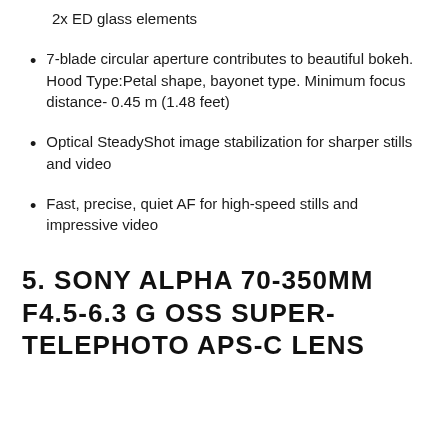2x ED glass elements
7-blade circular aperture contributes to beautiful bokeh. Hood Type:Petal shape, bayonet type. Minimum focus distance- 0.45 m (1.48 feet)
Optical SteadyShot image stabilization for sharper stills and video
Fast, precise, quiet AF for high-speed stills and impressive video
5. SONY ALPHA 70-350MM F4.5-6.3 G OSS SUPER-TELEPHOTO APS-C LENS